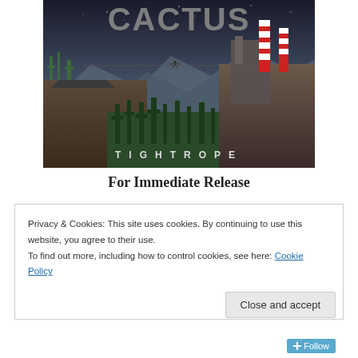[Figure (illustration): Album cover for Cactus 'Tightrope' - shows a surreal landscape with cacti, a figure walking a tightrope between a desert cliff with cacti on the left and an industrial structure with striped chimneys on the right, against a stormy sky. The band name CACTUS appears at the top and TIGHTROPE is spelled out at the bottom.]
For Immediate Release
Privacy & Cookies: This site uses cookies. By continuing to use this website, you agree to their use.
To find out more, including how to control cookies, see here: Cookie Policy
Close and accept
Follow